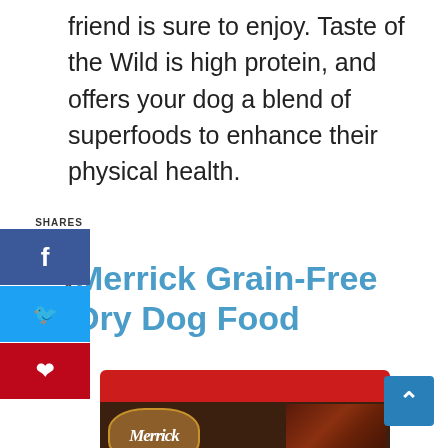friend is sure to enjoy. Taste of the Wild is high protein, and offers your dog a blend of superfoods to enhance their physical health.
4 Merrick Grain-Free Dry Dog Food
[Figure (photo): Merrick Grain-Free Real Buffalo, Beef & Sweet Potato Recipe dry dog food bag with red top, brown wood-textured body, showing the Merrick logo, grain free label, 70/30 ratio badge, and food images including meat, sweet potato, carrots and peas]
[Figure (other): Social media sharing sidebar with Facebook, Twitter, and Pinterest buttons, labeled '4 SHARES']